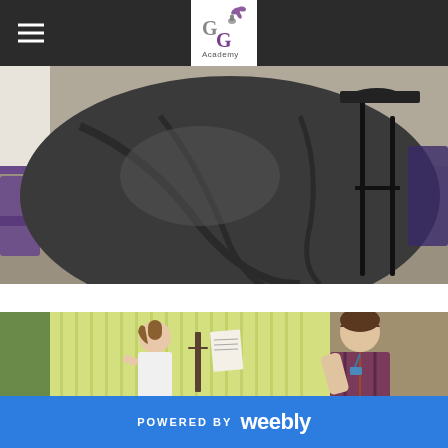GG Academy header with hamburger menu and logo
[Figure (photo): Close-up photograph of a dark grey/black jacket or bag draped over a stool/chair in a classroom setting with purple chairs and grey carpet visible]
[Figure (photo): Photograph of a young male teacher or instructor reading sheet music with a young girl student in a classroom with vertical blinds and green walls]
POWERED BY weebly